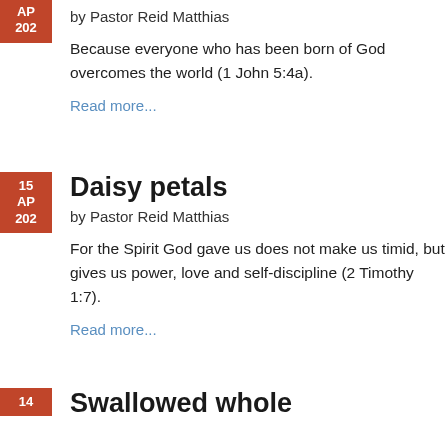by Pastor Reid Matthias
Because everyone who has been born of God overcomes the world (1 John 5:4a).
Read more...
Daisy petals
by Pastor Reid Matthias
For the Spirit God gave us does not make us timid, but gives us power, love and self-discipline (2 Timothy 1:7).
Read more...
Swallowed whole